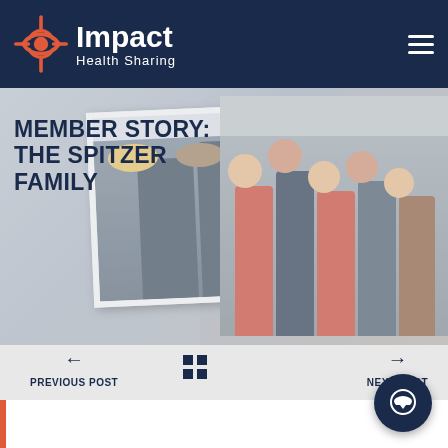Impact Health Sharing
[Figure (photo): Hero image of the Spitzer family — two overlapping polaroid-style photos showing a family group wearing wrestling team shirts on the left, and a larger family portrait on the right, with a muted blue-grey background]
MEMBER STORY: THE SPITZER FAMILY
← PREVIOUS POST
⊞
→ NEXT POST